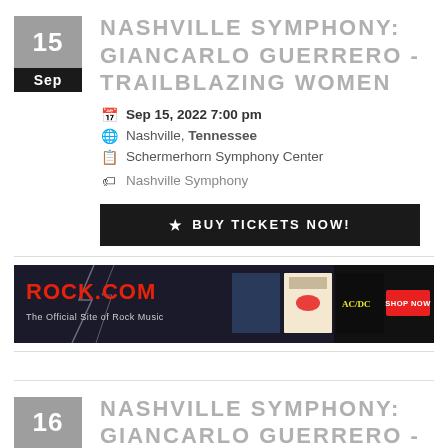NASHVILLE SYMPHONY: GIANCARLO GUERRERO - TRAILBLAZING WOMEN
Sep 15, 2022 7:00 pm
Nashville, Tennessee
Schermerhorn Symphony Center
Nashville Symphony
★ BUY TICKETS NOW!
[Figure (other): ROCK.COM advertisement banner - The Official Site of Rock Music, featuring album covers and a SHOP NOW button]
NASHVILLE SYMPHONY: GIANCARLO GUERRERO -